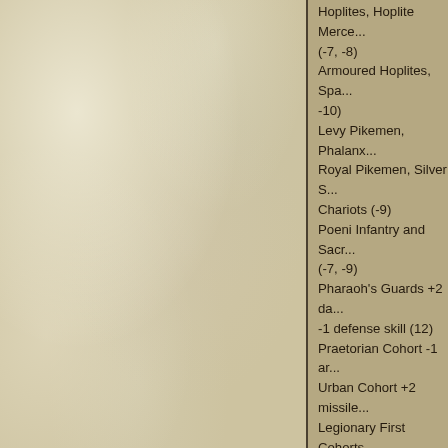[Figure (illustration): Stone or marble texture in beige/cream/gold tones occupying the left portion of the page, with a dark vertical dividing line on the right edge of the texture area.]
Hoplites, Hoplite Merce... (-7, -8) Armoured Hoplites, Spa... -10) Levy Pikemen, Phalanx... Royal Pikemen, Silver S... Chariots (-9) Poeni Infantry and Sacr... (-7, -9) Pharaoh's Guards +2 da... -1 defense skill (12) Praetorian Cohort -1 ar... Urban Cohort +2 missile... Legionary First Cohorts... Arcani -1 melee damag... Arcani no longer have -... Velite Gladiators +4 mo... Mirmillo Gladiators and... Samnite Gladiators no l... Mirmillo Gladiators no lo... Judean Zealots -3 mora... Judean Zealots are now... Elephants, Chariots Cilician Pirates can no l... Cilician Pirates -2 mora... damage (13) Berserkers use Horde F... Berserkers +4 vs Eleph... Rhodian Slingers and C... Bastarnae and Bastar...